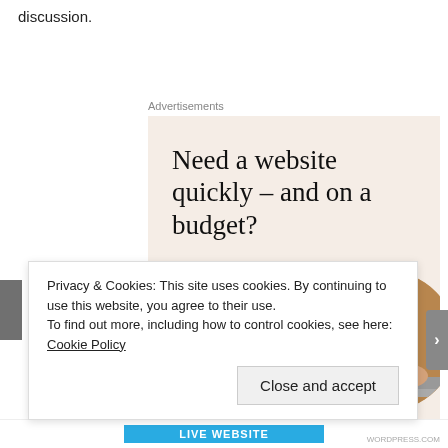discussion.
Advertisements
[Figure (other): Advertisement banner with beige background showing headline 'Need a website quickly – and on a budget?', subheadline 'Let us build it for you', a 'Let's get started' button, and a circular cropped photo of hands typing on a laptop.]
Privacy & Cookies: This site uses cookies. By continuing to use this website, you agree to their use.
To find out more, including how to control cookies, see here: Cookie Policy
Close and accept